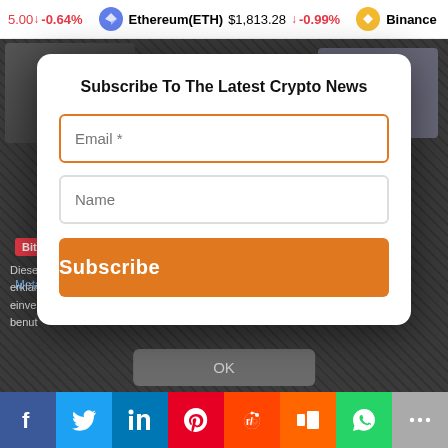5.00 ↓ -0.64% | Ethereum(ETH) $1,813.28 ↓ -0.99% | Binance
[Figure (screenshot): Dark background showing a cryptocurrency news website with blurred content, Bitcoin badge, Meta link, and partial article text in German]
Subscribe To The Latest Crypto News
Email *
Name
Subscribe
OK
Social share buttons: Facebook, Twitter, LinkedIn, Pinterest, Reddit, Mix, WhatsApp, More